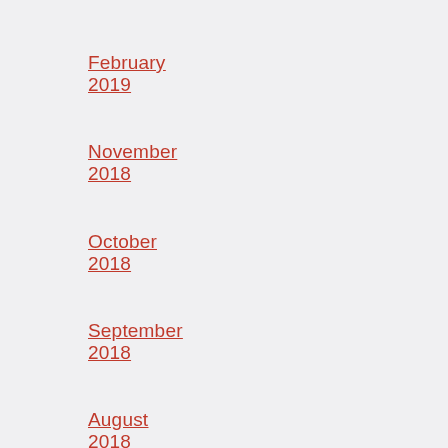February 2019
November 2018
October 2018
September 2018
August 2018
July 2018
June 2018
May 2018
April 2018
March 2018